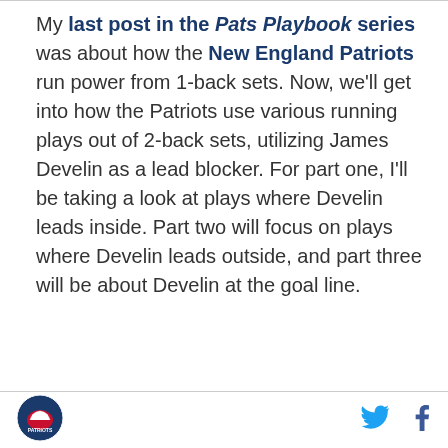My last post in the Pats Playbook series was about how the New England Patriots run power from 1-back sets. Now, we'll get into how the Patriots use various running plays out of 2-back sets, utilizing James Develin as a lead blocker. For part one, I'll be taking a look at plays where Develin leads inside. Part two will focus on plays where Develin leads outside, and part three will be about Develin at the goal line.
[Figure (logo): Patriots site logo — circular emblem with helmet and stars]
[Figure (logo): Twitter bird icon]
[Figure (logo): Facebook f icon]